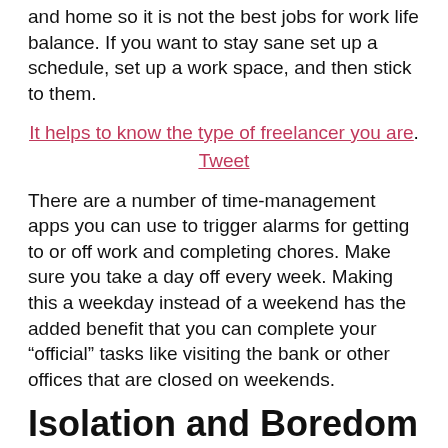and home so it is not the best jobs for work life balance. If you want to stay sane set up a schedule, set up a work space, and then stick to them.
It helps to know the type of freelancer you are. Tweet
There are a number of time-management apps you can use to trigger alarms for getting to or off work and completing chores. Make sure you take a day off every week. Making this a weekday instead of a weekend has the added benefit that you can complete your “official” tasks like visiting the bank or other offices that are closed on weekends.
Isolation and Boredom
Sounds strange? Well it’s all very well to say you are your own boss but working alone can be boring and you’ll seek company at some point. The best way to overcome this is of course doing something that you are passionate about and